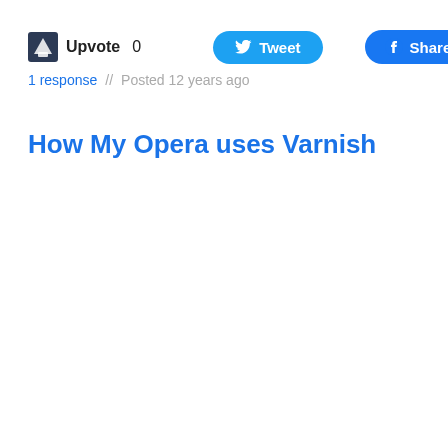Upvote 0  Tweet  Share 0
1 response // Posted 12 years ago
How My Opera uses Varnish